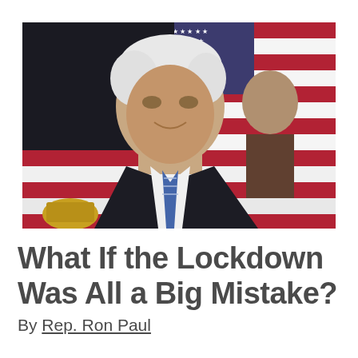[Figure (photo): Photograph of an elderly white-haired man in a dark suit and blue patterned tie, smiling and looking upward, with a large American flag visible in the background. Another person is partially visible behind him.]
What If the Lockdown Was All a Big Mistake?
By Rep. Ron Paul